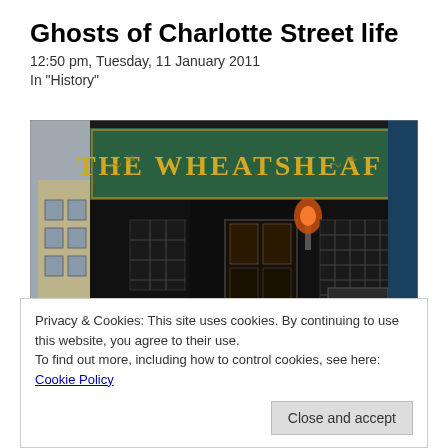Ghosts of Charlotte Street life
12:50 pm, Tuesday, 11 January 2011
In "History"
[Figure (photo): Exterior photograph of The Wheatsheaf pub, showing a dark Victorian-style pub front with a green sign reading 'THE WHEATSHEAF' in gold letters, a lit wall lamp, latticed windows, outdoor wooden chairs and tables, and a passage to the left showing a brick building beyond.]
Privacy & Cookies: This site uses cookies. By continuing to use this website, you agree to their use.
To find out more, including how to control cookies, see here: Cookie Policy
Close and accept